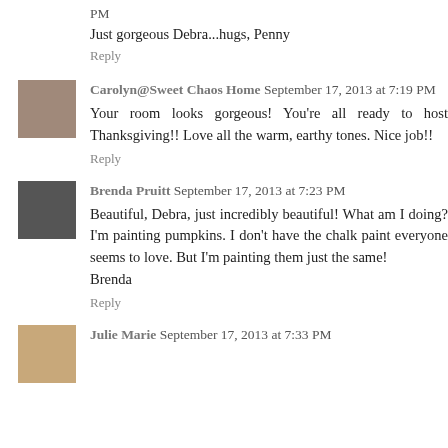PM
Just gorgeous Debra...hugs, Penny
Reply
Carolyn@Sweet Chaos Home September 17, 2013 at 7:19 PM
Your room looks gorgeous! You're all ready to host Thanksgiving!! Love all the warm, earthy tones. Nice job!!
Reply
Brenda Pruitt September 17, 2013 at 7:23 PM
Beautiful, Debra, just incredibly beautiful! What am I doing? I'm painting pumpkins. I don't have the chalk paint everyone seems to love. But I'm painting them just the same!
Brenda
Reply
Julie Marie September 17, 2013 at 7:33 PM